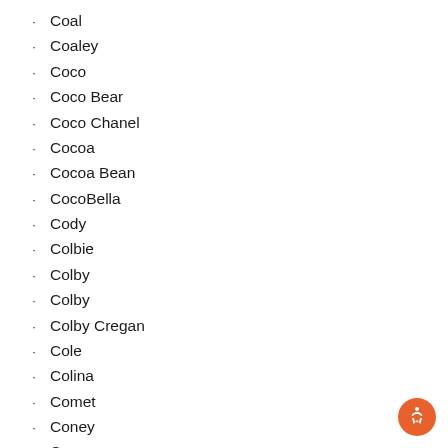Coal
Coaley
Coco
Coco Bear
Coco Chanel
Cocoa
Cocoa Bean
CocoBella
Cody
Colbie
Colby
Colby
Colby Cregan
Cole
Colina
Comet
Coney
Conner
Cookie
Cooper